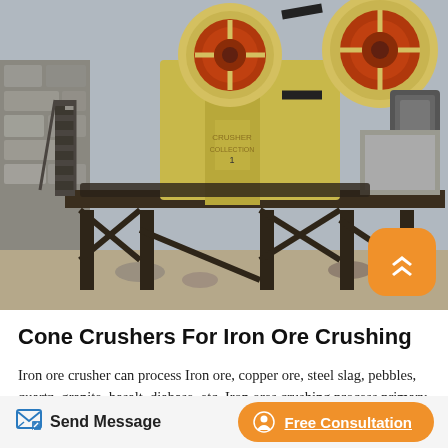[Figure (photo): Industrial cone crusher / jaw crusher machine mounted on a steel frame structure outdoors, with large pulley wheels, conveyor belts, and a staircase visible. Yellow and black painted heavy machinery.]
Cone Crushers For Iron Ore Crushing
Iron ore crusher can process Iron ore, copper ore, steel slag, pebbles, quartz, granite, basalt, diabase, etc. Iron ores crushing process primary crushing, secondary crushing, tertiary crushing and screening. Primary crushing You can use the iron ore jaw crusher for primary crushing. It is the most stable and reliable crushing
Send Message | Free Consultation